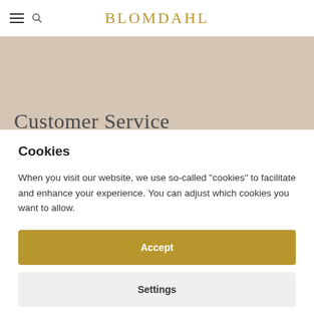BLOMDAHL
Customer Service
Do you have questions on items such as delivery and returns, piercing and skin friendly jewellery? Read our FAQ or contact
Cookies
When you visit our website, we use so-called "cookies" to facilitate and enhance your experience. You can adjust which cookies you want to allow.
Accept
Settings